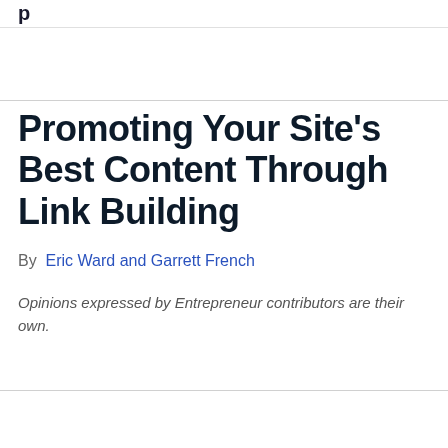p
Promoting Your Site's Best Content Through Link Building
By  Eric Ward and Garrett French
Opinions expressed by Entrepreneur contributors are their own.